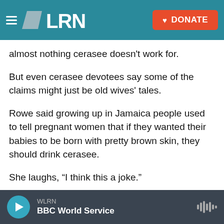[Figure (screenshot): WLRN navigation bar with hamburger menu, WLRN logo, and orange DONATE button]
almost nothing cerasee doesn't work for.
But even cerasee devotees say some of the claims might just be old wives' tales.
Rowe said growing up in Jamaica people used to tell pregnant women that if they wanted their babies to be born with pretty brown skin, they should drink cerasee.
She laughs, “I think this a joke.”
Still, cerasee is in demand, especially for Caribbean transplants now living here in South Florida. In
WLRN  BBC World Service